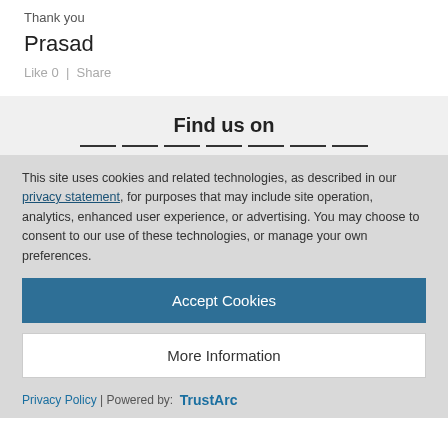Thank you
Prasad
Like 0  |  Share
Find us on
This site uses cookies and related technologies, as described in our privacy statement, for purposes that may include site operation, analytics, enhanced user experience, or advertising. You may choose to consent to our use of these technologies, or manage your own preferences.
Accept Cookies
More Information
Privacy Policy | Powered by: TrustArc